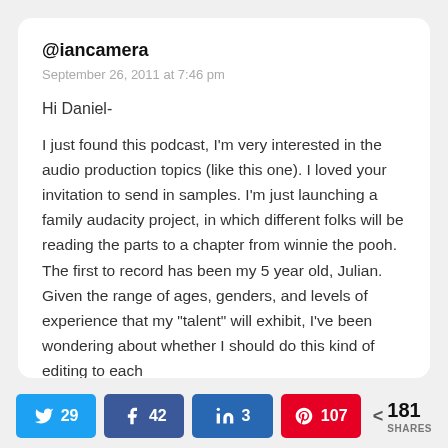@iancamera
September 26, 2011 at 7:46 pm
Hi Daniel-
I just found this podcast, I'm very interested in the audio production topics (like this one). I loved your invitation to send in samples. I'm just launching a family audacity project, in which different folks will be reading the parts to a chapter from winnie the pooh. The first to record has been my 5 year old, Julian. Given the range of ages, genders, and levels of experience that my "talent" will exhibit, I've been wondering about whether I should do this kind of editing to each
29 Twitter shares, 42 Facebook shares, 3 LinkedIn shares, 107 Pinterest shares, 181 total shares